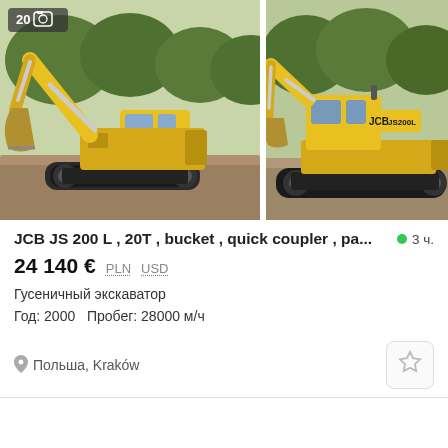[Figure (photo): Two yellow JCB JS200L tracked excavators photographed outdoors. Left image shows excavator with raised arm and bucket against green trees and dirt ground. Right image shows a similar excavator parked, with JCB JS200L branding visible, also outdoors near trees.]
JCB JS 200 L , 20T , bucket , quick coupler , pa...
3 ч.
24 140 € PLN USD
Гусеничный экскаватор
Год: 2000   Пробег: 28000 м/ч
Польша, Kraków